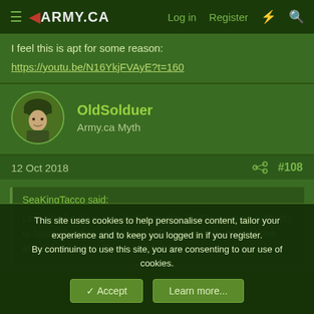≡ ◄ARMY.CA    Log in   Register   ⚡   🔍
I feel this is apt for some reason:
https://youtu.be/N16YkjFVAyE?t=160
OldSolduer
Army.ca Myth
12 Oct 2018   #108
SeaKingTacco said:
Lets also be clear the Unit/Formation CWOs have no authority to issue direction on their own. They generally do not have any subordinates. They are advisors.
This site uses cookies to help personalise content, tailor your experience and to keep you logged in if you register.
By continuing to use this site, you are consenting to our use of cookies.
Accept   Learn more...